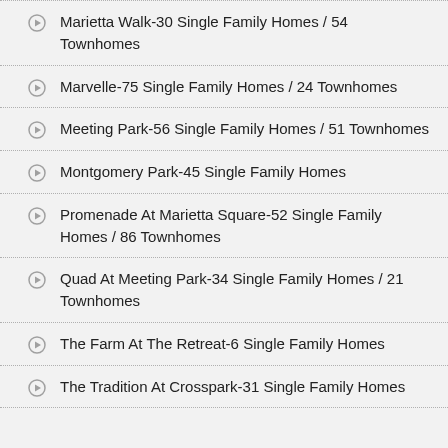Marietta Walk-30 Single Family Homes / 54 Townhomes
Marvelle-75 Single Family Homes / 24 Townhomes
Meeting Park-56 Single Family Homes / 51 Townhomes
Montgomery Park-45 Single Family Homes
Promenade At Marietta Square-52 Single Family Homes / 86 Townhomes
Quad At Meeting Park-34 Single Family Homes / 21 Townhomes
The Farm At The Retreat-6 Single Family Homes
The Tradition At Crosspark-31 Single Family Homes